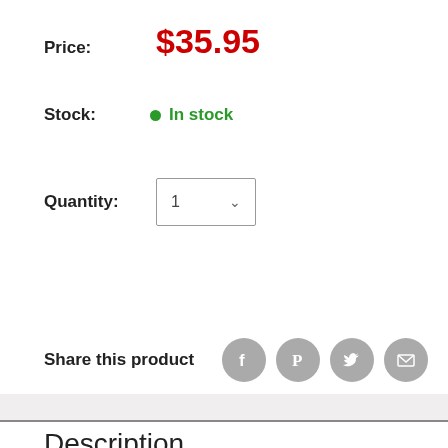Price: $35.95
Stock: In stock
Quantity: 1
Share this product
Description